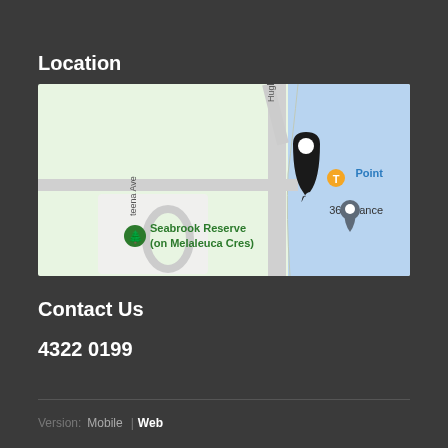Location
[Figure (map): Google Maps screenshot showing location near Point Clare, with street labels including Hughes St, Seabrook Reserve (on Melaleuca Cres), 365xdance, and Teena Ave. A black map pin marker is placed at the location. The right side shows blue water area.]
Contact Us
4322 0199
Version: Mobile | Web